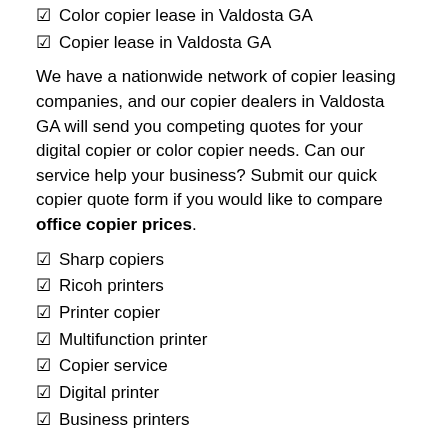☑ Color copier lease in Valdosta GA
☑ Copier lease in Valdosta GA
We have a nationwide network of copier leasing companies, and our copier dealers in Valdosta GA will send you competing quotes for your digital copier or color copier needs. Can our service help your business? Submit our quick copier quote form if you would like to compare office copier prices.
☑ Sharp copiers
☑ Ricoh printers
☑ Printer copier
☑ Multifunction printer
☑ Copier service
☑ Digital printer
☑ Business printers
Office Copier Rentals Valdosta GA